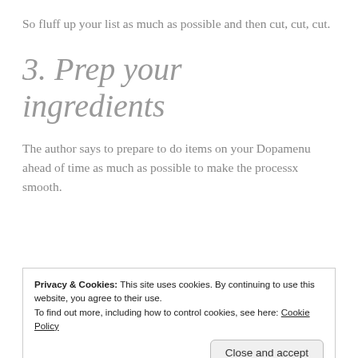So fluff up your list as much as possible and then cut, cut, cut.
3. Prep your ingredients
The author says to prepare to do items on your Dopamenu ahead of time as much as possible to make the processx smooth.
Privacy & Cookies: This site uses cookies. By continuing to use this website, you agree to their use.
To find out more, including how to control cookies, see here: Cookie Policy
Close and accept
For example, I prepped a cross-stitch kit–fabric, needles